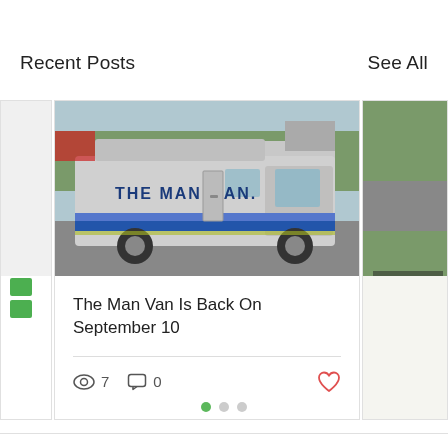Recent Posts
See All
[Figure (photo): A large service van/truck with 'THE MAN MAN.' branding, silver body with blue and white checkerboard stripe along the bottom, parked in a parking area with trees and a house visible in the background.]
The Man Van Is Back On September 10
[Figure (other): Partial view of a second blog post card on the right edge]
7 views, 0 comments, heart/like icon